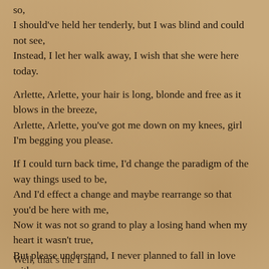so,
I should've held her tenderly, but I was blind and could not see,
Instead, I let her walk away, I wish that she were here today.
Arlette, Arlette, your hair is long, blonde and free as it blows in the breeze,
Arlette, Arlette, you've got me down on my knees, girl I'm begging you please.
If I could turn back time, I'd change the paradigm of the way things used to be,
And I'd effect a change and maybe rearrange so that you'd be here with me,
Now it was not so grand to play a losing hand when my heart it wasn't true,
But please understand, I never planned to fall in love with you.
Well, that's the start of something partially visible at bottom...